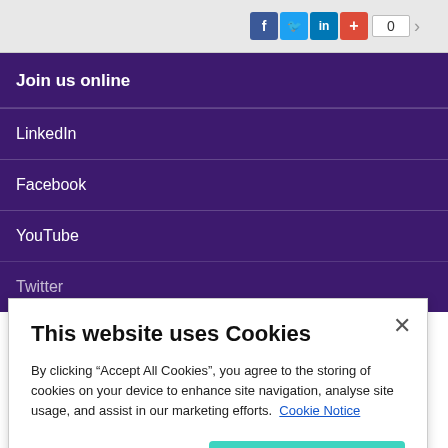[Figure (screenshot): Social sharing icons: Facebook (blue), Twitter (light blue), LinkedIn (blue), plus/share button (red), and a share count showing 0]
Join us online
LinkedIn
Facebook
YouTube
Twitter
This website uses Cookies
By clicking “Accept All Cookies”, you agree to the storing of cookies on your device to enhance site navigation, analyse site usage, and assist in our marketing efforts.  Cookie Notice
Cookie Settings
Accept All Cookies